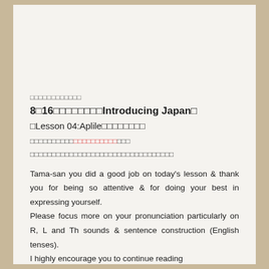□□□□□□□□□□□□
8□16□□□□□□□□Introducing Japan□
□Lesson 04:Aplile□□□□□□□□
□□□□□□□□□□□□□□□□□□□□□□□□□
□□□□□□□□□□□□□□□□□□□□□□□□□□□□□□
Tama-san you did a good job on today's lesson & thank you for being so attentive & for doing your best in expressing yourself.
Please focus more on your pronunciation particularly on R, L and Th sounds & sentence construction (English tenses).
I highly encourage you to continue reading